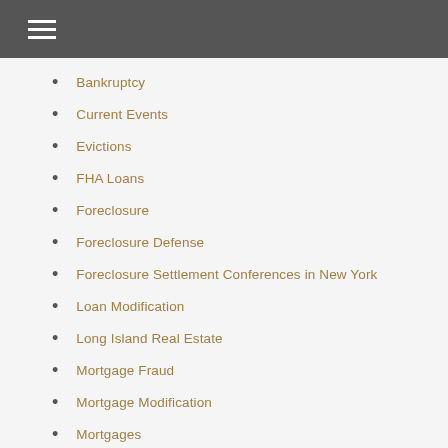Bankruptcy
Current Events
Evictions
FHA Loans
Foreclosure
Foreclosure Defense
Foreclosure Settlement Conferences in New York
Loan Modification
Long Island Real Estate
Mortgage Fraud
Mortgage Modification
Mortgages